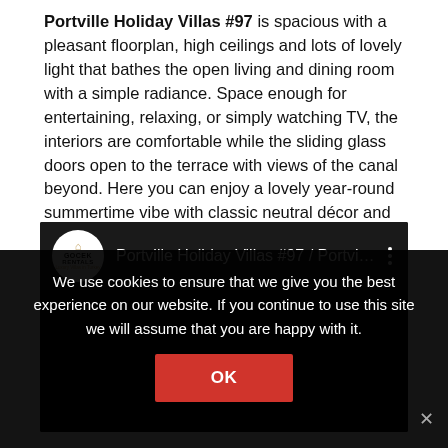Portville Holiday Villas #97 is spacious with a pleasant floorplan, high ceilings and lots of lovely light that bathes the open living and dining room with a simple radiance. Space enough for entertaining, relaxing, or simply watching TV, the interiors are comfortable while the sliding glass doors open to the terrace with views of the canal beyond. Here you can enjoy a lovely year-round summertime vibe with classic neutral décor and simple furnishings.
[Figure (screenshot): YouTube video embed showing 'Portville Holiday Villas #97 / Portvill...' with Gocek Rentals channel logo, dark header and black video body]
We use cookies to ensure that we give you the best experience on our website. If you continue to use this site we will assume that you are happy with it.